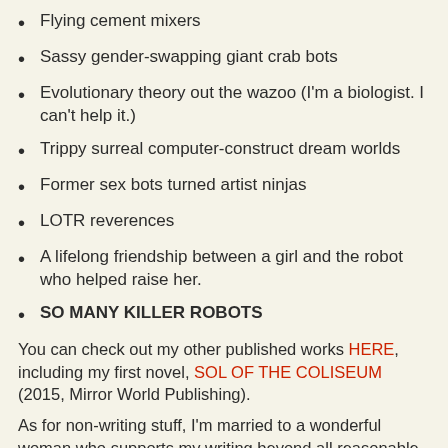Flying cement mixers
Sassy gender-swapping giant crab bots
Evolutionary theory out the wazoo (I'm a biologist. I can't help it.)
Trippy surreal computer-construct dream worlds
Former sex bots turned artist ninjas
LOTR reverences
A lifelong friendship between a girl and the robot who helped raise her.
SO MANY KILLER ROBOTS
You can check out my other published works HERE, including my first novel, SOL OF THE COLISEUM (2015, Mirror World Publishing).
As for non-writing stuff, I'm married to a wonderful woman who supports my writing beyond all reasonable expectations. I have two kids, a girl and a boy. Do not...